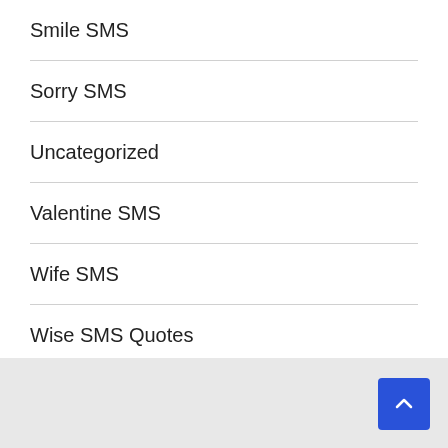Smile SMS
Sorry SMS
Uncategorized
Valentine SMS
Wife SMS
Wise SMS Quotes
Women's Day SMS